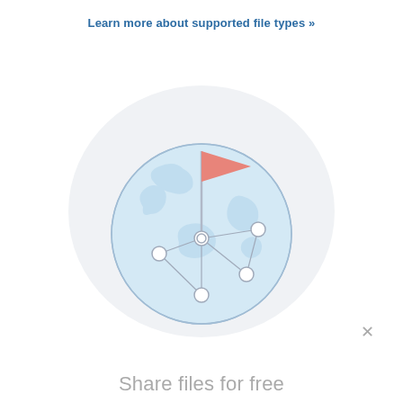Learn more about supported file types »
[Figure (illustration): Globe illustration with network nodes and a red/salmon flag on top, set on a light gray circular background]
✕
Share files for free